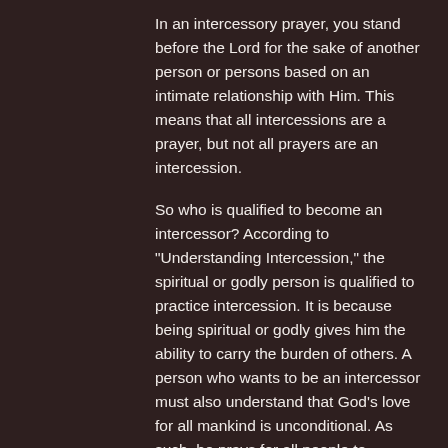In an intercessory prayer, you stand before the Lord for the sake of another person or persons based on an intimate relationship with Him. This means that all intercessions are a prayer, but not all prayers are an intercession.
So who is qualified to become an intercessor? According to "Understanding Intercession," the spiritual or godly person is qualified to practice intercession. It is because being spiritual or godly gives him the ability to carry the burden of others. A person who wants to be an intercessor must also understand that God's love for all mankind is unconditional. As such, he prays for all people to experience God's love, often going the sacrifice for...